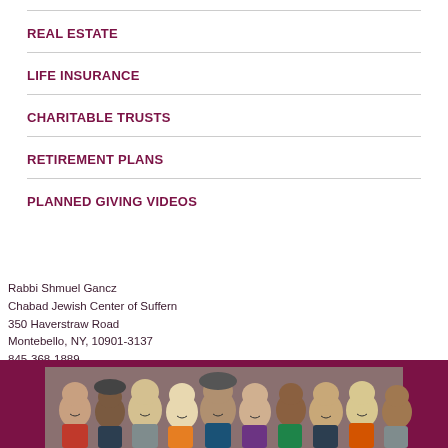REAL ESTATE
LIFE INSURANCE
CHARITABLE TRUSTS
RETIREMENT PLANS
PLANNED GIVING VIDEOS
Rabbi Shmuel Gancz
Chabad Jewish Center of Suffern
350 Haverstraw Road
Montebello, NY, 10901-3137
845-368-1889
Rabbi@JewishSuffern.com
[Figure (photo): Group photo of a crowd of people smiling, with a dark maroon/purple banner background at the bottom of the page]